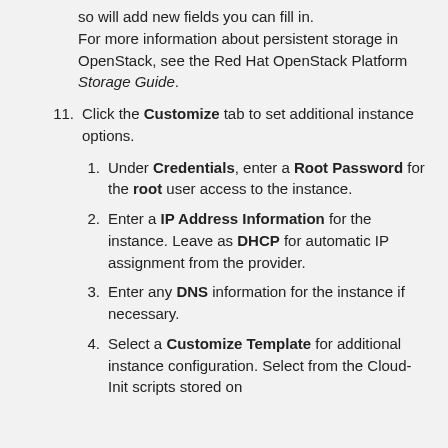so will add new fields you can fill in. For more information about persistent storage in OpenStack, see the Red Hat OpenStack Platform Storage Guide.
11. Click the Customize tab to set additional instance options.
1. Under Credentials, enter a Root Password for the root user access to the instance.
2. Enter a IP Address Information for the instance. Leave as DHCP for automatic IP assignment from the provider.
3. Enter any DNS information for the instance if necessary.
4. Select a Customize Template for additional instance configuration. Select from the Cloud-Init scripts stored on